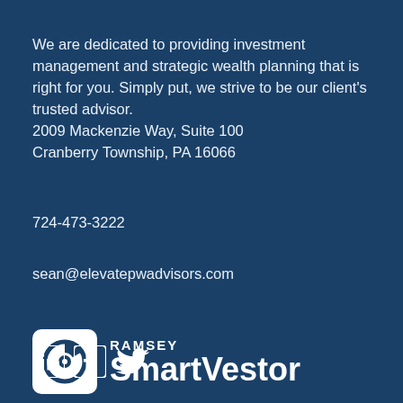We are dedicated to providing investment management and strategic wealth planning that is right for you. Simply put, we strive to be our client's trusted advisor.
2009 Mackenzie Way, Suite 100
Cranberry Township, PA 16066
724-473-3222
sean@elevatepwadvisors.com
[Figure (logo): Ramsey SmartVestor logo with pie-chart icon on white rounded-rectangle background and text 'RAMSEY SmartVestor']
[Figure (logo): Social media icons: LinkedIn, Facebook, Twitter]